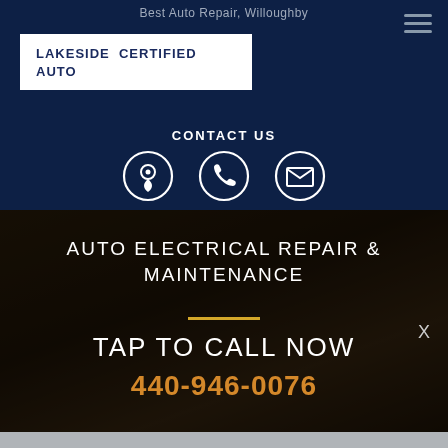Best Auto Repair, Willoughby
[Figure (logo): Lakeside Certified Auto logo, white background with dark blue bold text]
CONTACT US
[Figure (infographic): Three white circle icons: location pin, phone handset, envelope]
AUTO ELECTRICAL REPAIR & MAINTENANCE
TAP TO CALL NOW
440-946-0076